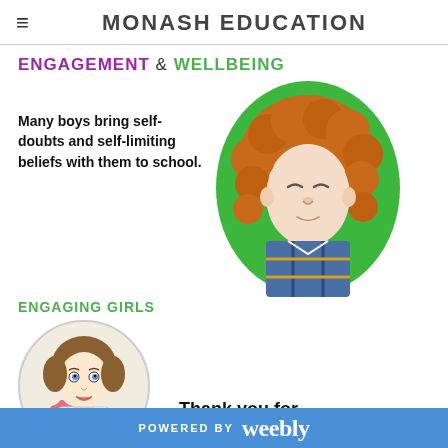MONASH EDUCATION
ENGAGEMENT & WELLBEING
Many boys bring self-doubts and self-limiting beliefs with them to school.
[Figure (photo): A red/curly-haired boy with eyes closed in front of a green background, shown in an oval crop]
ENGAGING GIRLS
[Figure (photo): An illustrated vintage-style girl with a rose, shown in an oval crop, partially visible]
Thank you for building a friendly
POWERED BY weebly